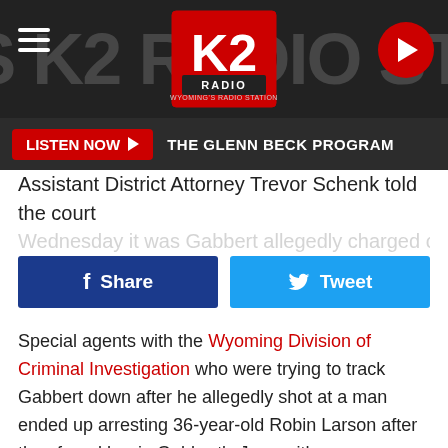[Figure (screenshot): K2 Radio website header with dark background, hamburger menu icon on left, K2 Radio logo in center, red circular play button on right, and watermark text in background]
LISTEN NOW ▶   THE GLENN BECK PROGRAM
Assistant District Attorney Trevor Schenk told the court Wednesday it was Gabbett alleged...
[Figure (screenshot): Two social sharing buttons: dark blue Facebook Share button and light blue Twitter Tweet button]
Special agents with the Wyoming Division of Criminal Investigation who were trying to track Gabbert down after he allegedly shot at a man ended up arresting 36-year-old Robin Larson after they found her in Gabbert's Jeep with methamphetamine in her purse.
Tyrone Jackson, 46, was also allegedly involved in the ring. He reportedly admitted to his probation agent on Oct. 13 that he had been selling methamphetamine.